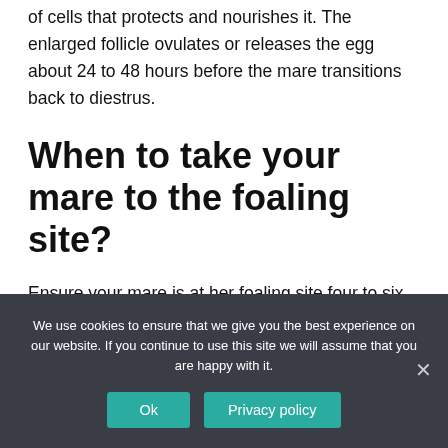of cells that protects and nourishes it. The enlarged follicle ovulates or releases the egg about 24 to 48 hours before the mare transitions back to diestrus.
When to take your mare to the foaling site?
Ensure your mare is at her foaling site four to six weeks before her due date. Mares need time to settle and develop immunity to local organisms. The length of a normal pregnancy is usually 335 to 342 days, but
We use cookies to ensure that we give you the best experience on our website. If you continue to use this site we will assume that you are happy with it.